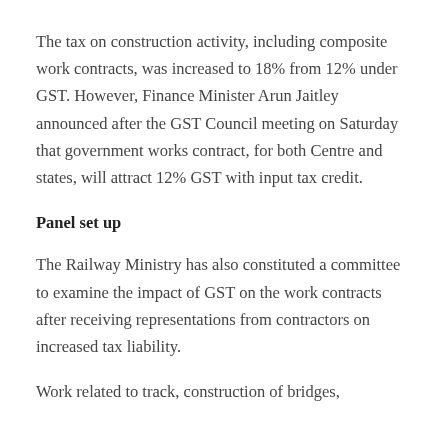The tax on construction activity, including composite work contracts, was increased to 18% from 12% under GST. However, Finance Minister Arun Jaitley announced after the GST Council meeting on Saturday that government works contract, for both Centre and states, will attract 12% GST with input tax credit.
Panel set up
The Railway Ministry has also constituted a committee to examine the impact of GST on the work contracts after receiving representations from contractors on increased tax liability.
Work related to track, construction of bridges,